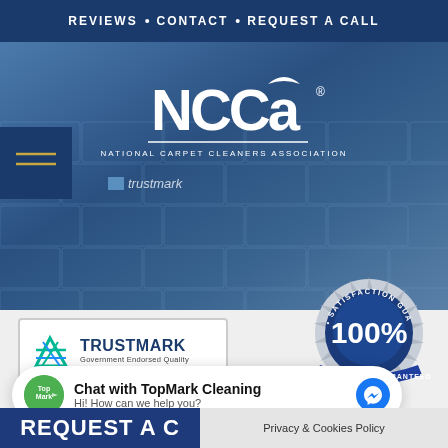REVIEWS • CONTACT • REQUEST A CALL
[Figure (logo): NCCA (National Carpet Cleaners Association) logo in white on blue textured paving stone background, with hamburger menu icon on left and Trustmark placeholder image]
[Figure (logo): TrustMark Government Endorsed Quality logo in white bordered box]
[Figure (illustration): Satisfaction Guaranteed 100% circular badge in blue and silver]
[Figure (screenshot): Chat widget: Chat with TopMark Cleaning - Hi! How can we help you? with TopMark avatar and Messenger icon]
REQUEST A C
Privacy & Cookies Policy